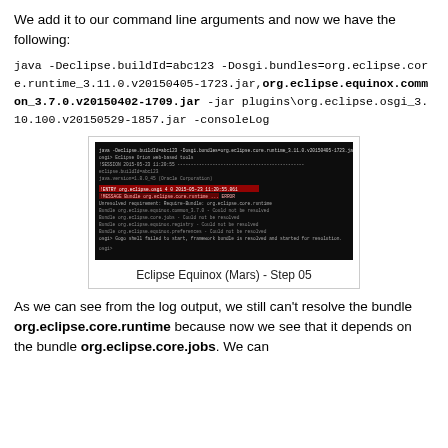We add it to our command line arguments and now we have the following:
java -Declipse.buildId=abc123 -Dosgi.bundles=org.eclipse.core.runtime_3.11.0.v20150405-1723.jar,org.eclipse.equinox.common_3.7.0.v20150402-1709.jar -jar plugins\org.eclipse.osgi_3.10.100.v20150529-1857.jar -consoleLog
[Figure (screenshot): Terminal/console screenshot showing Eclipse Equinox log output with error messages on a black background, with some red highlighted text.]
Eclipse Equinox (Mars) - Step 05
As we can see from the log output, we still can't resolve the bundle org.eclipse.core.runtime because now we see that it depends on the bundle org.eclipse.core.jobs. We can